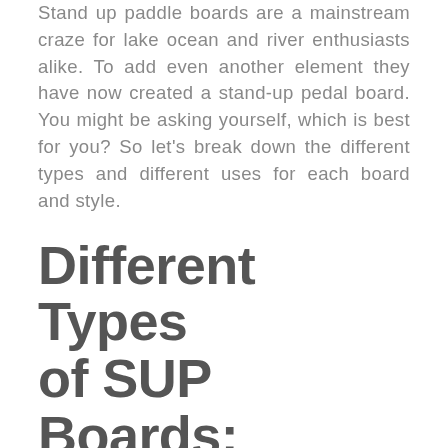Stand up paddle boards are a mainstream craze for lake ocean and river enthusiasts alike. To add even another element they have now created a stand-up pedal board. You might be asking yourself, which is best for you? So let's break down the different types and different uses for each board and style.
Different Types of SUP Boards:
STAND UP PADDLE BOARD: